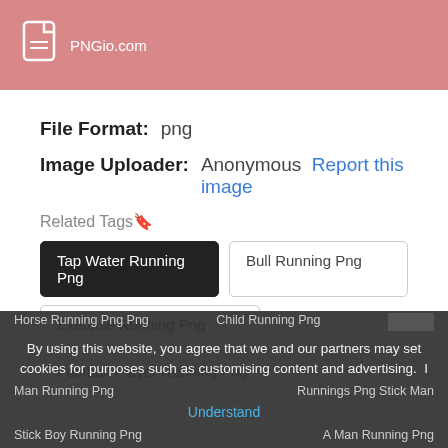PNGio.com
File Format:  png
Image Uploader:  Anonymous  Report this image
Related Tags🔖
Tap Water Running Png
Bull Running Png
Exercise Running Png
Football Player Running Png
By using this website, you agree that we and our partners may set cookies for purposes such as customising content and advertising. I Understand